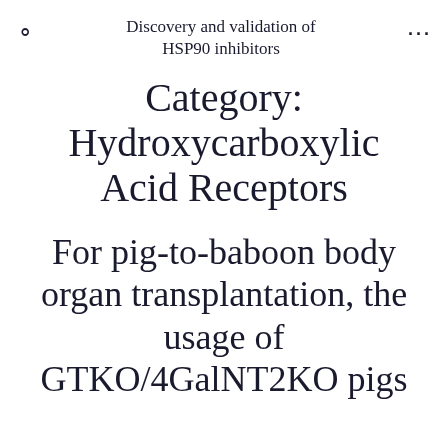Discovery and validation of HSP90 inhibitors
Category: Hydroxycarboxylic Acid Receptors
For pig-to-baboon body organ transplantation, the usage of GTKO/4GalNT2KO pigs